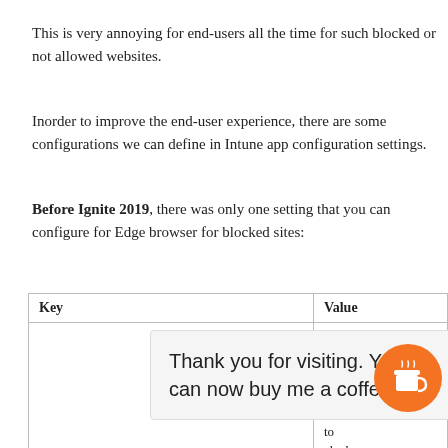This is very annoying for end-users all the time for such blocked or not allowed websites.
Inorder to improve the end-user experience, there are some configurations we can define in Intune app configuration settings.
Before Ignite 2019, there was only one setting that you can configure for Edge browser for blocked sites:
| Key | Value |
| --- | --- |
|  | True allows Microsoft Edge to transition use to their personal
...to
blocked

Block prever |
[Figure (other): Thank you for visiting popup with coffee cup button overlay]